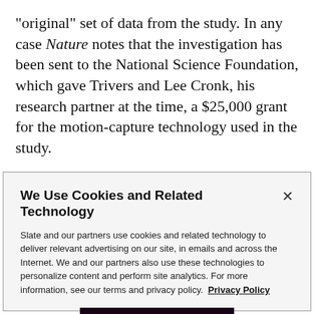“original” set of data from the study. In any case Nature notes that the investigation has been sent to the National Science Foundation, which gave Trivers and Lee Cronk, his research partner at the time, a $25,000 grant for the motion-capture technology used in the study.
Read the full story at Nature.
We Use Cookies and Related Technology
Slate and our partners use cookies and related technology to deliver relevant advertising on our site, in emails and across the Internet. We and our partners also use these technologies to personalize content and perform site analytics. For more information, see our terms and privacy policy. Privacy Policy